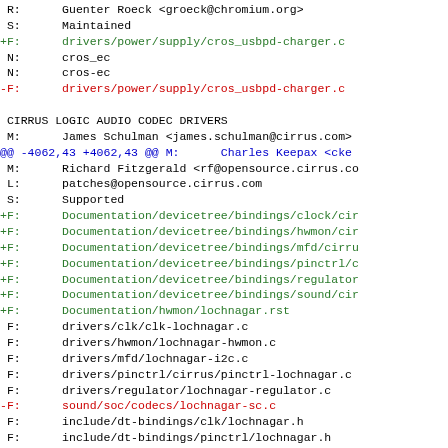R:      Guenter Roeck <groeck@chromium.org>
 S:      Maintained
+F:      drivers/power/supply/cros_usbpd-charger.c
 N:      cros_ec
 N:      cros-ec
-F:      drivers/power/supply/cros_usbpd-charger.c

 CIRRUS LOGIC AUDIO CODEC DRIVERS
 M:      James Schulman <james.schulman@cirrus.com>
@@ -4062,43 +4062,43 @@ M:      Charles Keepax <cke
 M:      Richard Fitzgerald <rf@opensource.cirrus.co
 L:      patches@opensource.cirrus.com
 S:      Supported
+F:      Documentation/devicetree/bindings/clock/cir
+F:      Documentation/devicetree/bindings/hwmon/cir
+F:      Documentation/devicetree/bindings/mfd/cirru
+F:      Documentation/devicetree/bindings/pinctrl/c
+F:      Documentation/devicetree/bindings/regulator
+F:      Documentation/devicetree/bindings/sound/cir
+F:      Documentation/hwmon/lochnagar.rst
 F:      drivers/clk/clk-lochnagar.c
 F:      drivers/hwmon/lochnagar-hwmon.c
 F:      drivers/mfd/lochnagar-i2c.c
 F:      drivers/pinctrl/cirrus/pinctrl-lochnagar.c
 F:      drivers/regulator/lochnagar-regulator.c
-F:      sound/soc/codecs/lochnagar-sc.c
 F:      include/dt-bindings/clk/lochnagar.h
 F:      include/dt-bindings/pinctrl/lochnagar.h
 F:      include/linux/mfd/lochnagar*
-F:      Documentation/devicetree/bindings/mfd/cirry